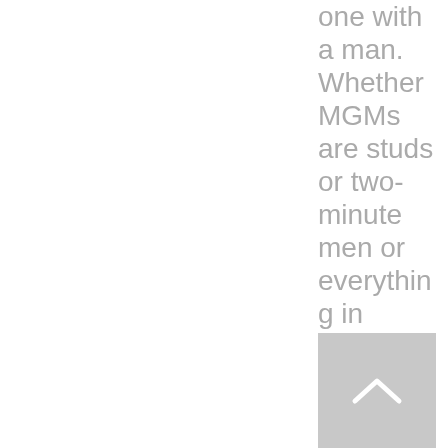one with a man. Whether MGMs are studs or two-minute men or everything in between is, again, NOT the point here. And the t seem determined to
[Figure (other): A scroll-to-top button with an upward-pointing chevron arrow on a gray background]